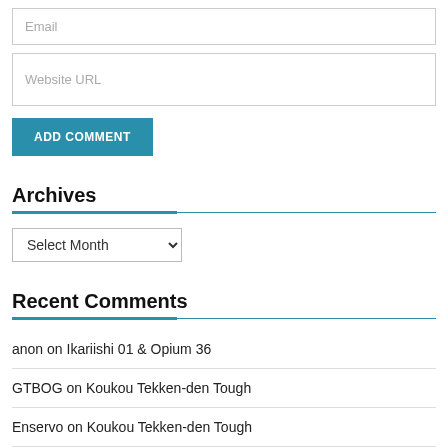Email
Website URL
ADD COMMENT
Archives
Select Month
Recent Comments
anon on Ikariishi 01 & Opium 36
GTBOG on Koukou Tekken-den Tough
Enservo on Koukou Tekken-den Tough